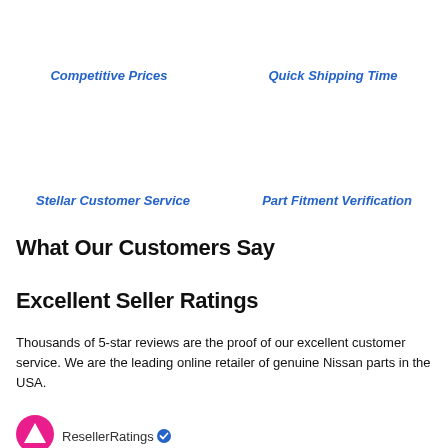Competitive Prices
Quick Shipping Time
Stellar Customer Service
Part Fitment Verification
What Our Customers Say
Excellent Seller Ratings
Thousands of 5-star reviews are the proof of our excellent customer service. We are the leading online retailer of genuine Nissan parts in the USA.
[Figure (logo): ResellerRatings logo with pink/magenta upward arrow icon and brand name with blue checkmark]
ResellerRatings